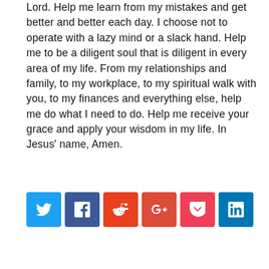Lord. Help me learn from my mistakes and get better and better each day. I choose not to operate with a lazy mind or a slack hand. Help me to be a diligent soul that is diligent in every area of my life. From my relationships and family, to my workplace, to my spiritual walk with you, to my finances and everything else, help me do what I need to do. Help me receive your grace and apply your wisdom in my life. In Jesus' name, Amen.
[Figure (infographic): Social sharing buttons row: Twitter (blue bird), Facebook (blue f), Reddit (orange alien), Google+ (red G+), Pocket (pink), LinkedIn (blue in)]